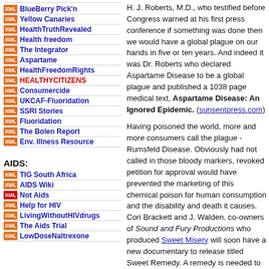BlueBerry Pick'n
Yellow Canaries
HealthTruthRevealed
Health freedom
The Integrator
Aspartame
HealthFreedomRights
HEALTHYCITIZENS
Consumercide
UKCAF-Fluoridation
SSRI Stories
Fluoridation
The Bolen Report
Env. Illness Resource
AIDS:
TIG South Africa
AIDS Wiki
Not Aids
Help for HIV
LivingWithoutHIVdrugs
The Aids Trial
LowDoseNaltrexone
H. J. Roberts, M.D., who testified before Congress warned at his first press conference if something was done then we would have a global plague on our hands in five or ten years. And indeed it was Dr. Roberts who declared Aspartame Disease to be a global plague and published a 1038 page medical text, Aspartame Disease: An Ignored Epidemic. (sunsentpress.com)
Having poisoned the world, more and more consumers call the plague - Rumsfeld Disease. Obviously had not called in those bloody markers, revoked petition for approval would have prevented the marketing of this chemical poison for human consumption and the disability and death it causes. Cori Brackett and J. Walden, co-owners of Sound and Fury Productions who produced Sweet Misery will soon have a new documentary to release titled Sweet Remedy. A remedy is needed to save aspartame victims. Cori Brackett is an aspartame victim who was diagnosed with MS. Off aspartame she walked out of her wheelchair to make this